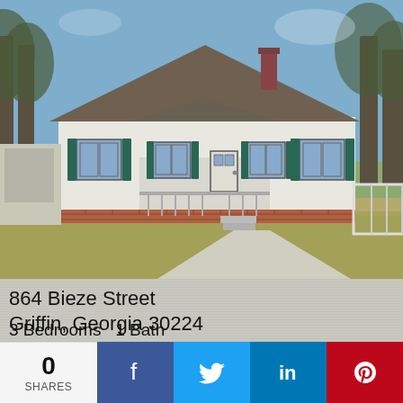[Figure (photo): Exterior photo of a white single-story ranch house with dark teal shutters, front porch, brick foundation, brown roof, and large front lawn. Bare trees visible in background under blue sky.]
864 Bieze Street
Griffin, Georgia 30224
Kincaid Griffin
1,186 Sqft (Src:Owner)
3 Bedrooms  1 Bath
0
SHARES